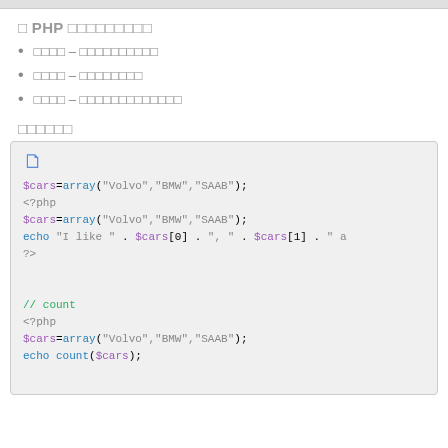□ PHP □□□□□□□□□
□□□□ – □□□□□□□□□□
□□□□ – □□□□□□□□
□□□□ – □□□□□□□□□□□□□
□□□□□□
[Figure (screenshot): PHP code example showing $cars=array("Volvo","BMW","SAAB"); with echo and count statements]